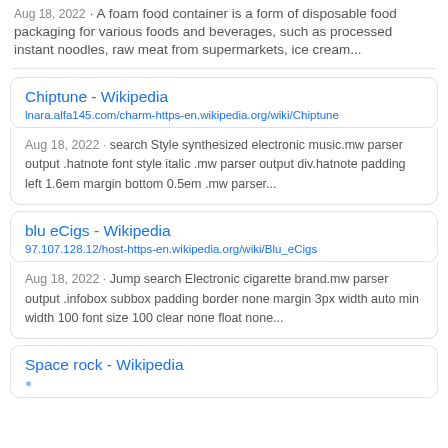Aug 18, 2022 · A foam food container is a form of disposable food packaging for various foods and beverages, such as processed instant noodles, raw meat from supermarkets, ice cream...
Chiptune - Wikipedia
lnara.alfa145.com/charm-https-en.wikipedia.org/wiki/Chiptune
Aug 18, 2022 · search Style synthesized electronic music.mw parser output .hatnote font style italic .mw parser output div.hatnote padding left 1.6em margin bottom 0.5em .mw parser...
blu eCigs - Wikipedia
97.107.128.12/host-https-en.wikipedia.org/wiki/Blu_eCigs
Aug 18, 2022 · Jump search Electronic cigarette brand.mw parser output .infobox subbox padding border none margin 3px width auto min width 100 font size 100 clear none float none...
Space rock - Wikipedia